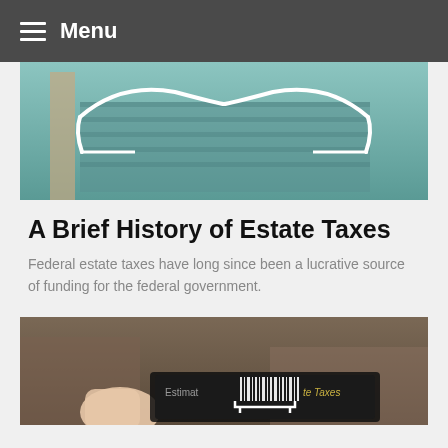Menu
[Figure (photo): Aerial or perspective view of a tiled pool/courtyard area with a white decorative neon-sign style curve overlay]
A Brief History of Estate Taxes
Federal estate taxes have long since been a lucrative source of funding for the federal government.
[Figure (photo): A hand pressing a tablet/calculator device showing text 'Estimating Estate Taxes' with barcode graphic overlay]